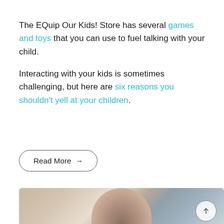The EQuip Our Kids! Store has several games and toys that you can use to fuel talking with your child.

Interacting with your kids is sometimes challenging, but here are six reasons you shouldn't yell at your children.
Read More →
[Figure (photo): Photo of a woman and child (appears to be a parent and young child with Down syndrome), partially visible at the bottom of the page]